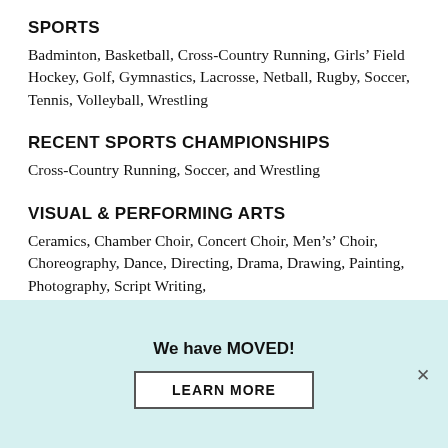SPORTS
Badminton, Basketball, Cross-Country Running, Girls’ Field Hockey, Golf, Gymnastics, Lacrosse, Netball, Rugby, Soccer, Tennis, Volleyball, Wrestling
RECENT SPORTS CHAMPIONSHIPS
Cross-Country Running, Soccer, and Wrestling
VISUAL & PERFORMING ARTS
Ceramics, Chamber Choir, Concert Choir, Men’s’ Choir, Choreography, Dance, Directing, Drama, Drawing, Painting, Photography, Script Writing,
We have MOVED!
LEARN MORE